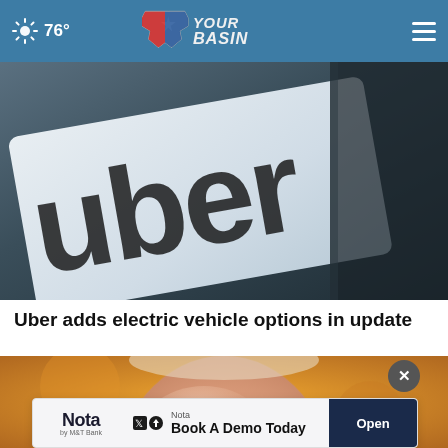76° — YourBasin
[Figure (photo): Close-up of an Uber logo printed on a white card placed on a dark surface]
Uber adds electric vehicle options in update
[Figure (photo): Close-up top of a bald man's head against a yellow/orange background]
[Figure (other): Advertisement banner: Nota — Book A Demo Today — Open button]